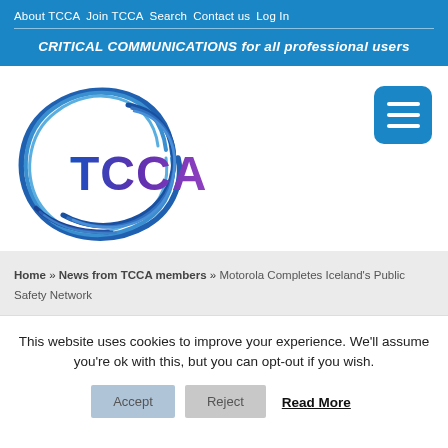About TCCA  Join TCCA  Search  Contact us  Log In
CRITICAL COMMUNICATIONS for all professional users
[Figure (logo): TCCA logo — stylized blue swirl/arc with TCCA text in blue-to-purple gradient]
[Figure (other): Hamburger menu button — blue rounded square with three white horizontal lines]
Home » News from TCCA members » Motorola Completes Iceland's Public Safety Network
This website uses cookies to improve your experience. We'll assume you're ok with this, but you can opt-out if you wish.
Accept
Reject
Read More